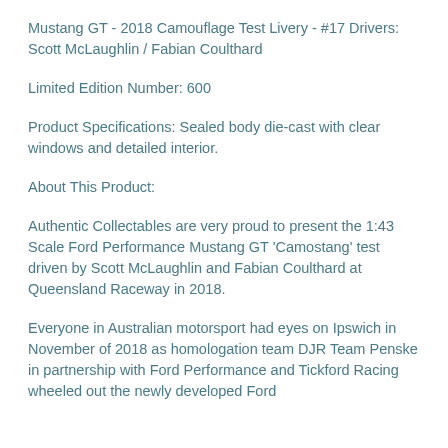Mustang GT - 2018 Camouflage Test Livery - #17 Drivers: Scott McLaughlin / Fabian Coulthard
Limited Edition Number: 600
Product Specifications: Sealed body die-cast with clear windows and detailed interior.
About This Product:
Authentic Collectables are very proud to present the 1:43 Scale Ford Performance Mustang GT 'Camostang' test driven by Scott McLaughlin and Fabian Coulthard at Queensland Raceway in 2018.
Everyone in Australian motorsport had eyes on Ipswich in November of 2018 as homologation team DJR Team Penske in partnership with Ford Performance and Tickford Racing wheeled out the newly developed Ford